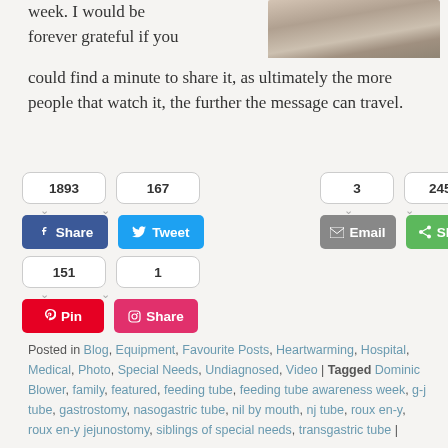week. I would be forever grateful if you could find a minute to share it, as ultimately the more people that watch it, the further the message can travel.
[Figure (photo): Black and white portrait photo of a person (cropped, top portion showing face/head area)]
[Figure (infographic): Social media share buttons row 1: Facebook Share (1893), Twitter Tweet (167); row 2 right: Email (3), Share green (2455); row 3: Pinterest Pin (151), Instagram Share (1)]
Posted in Blog, Equipment, Favourite Posts, Heartwarming, Hospital, Medical, Photo, Special Needs, Undiagnosed, Video | Tagged Dominic Blower, family, featured, feeding tube, feeding tube awareness week, g-j tube, gastrostomy, nasogastric tube, nil by mouth, nj tube, roux en-y, roux en-y jejunostomy, siblings of special needs, transgastric tube |